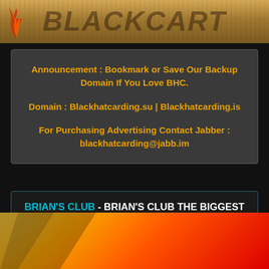[Figure (illustration): Website header banner with sandy/earthy texture background and stylized logo text with flame graphic on left side]
Announcement : Bookmark or Save Our Backup Domain If You Love BHC.

Domain : Blackhatcarding.su | Blackhatcarding.is

For Purchasing Advertising Contact Jabber : blackhatcarding@jabb.im
BRIAN'S CLUB - BRIAN'S CLUB THE BIGGEST SHOP | DUMPS & CARDS | DAILY UPDATES
[Figure (illustration): Bottom banner with diagonal yellow-orange-red gradient and dark diagonal stripe overlay]